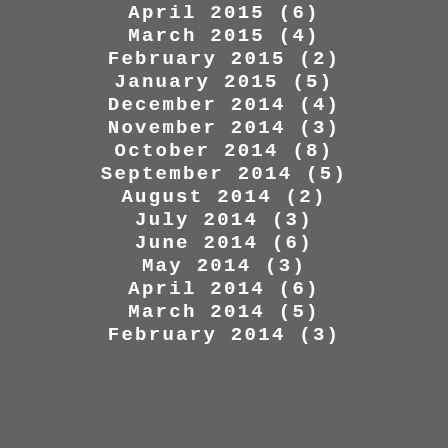April 2015 (6)
March 2015 (4)
February 2015 (2)
January 2015 (5)
December 2014 (4)
November 2014 (3)
October 2014 (8)
September 2014 (5)
August 2014 (2)
July 2014 (3)
June 2014 (6)
May 2014 (3)
April 2014 (6)
March 2014 (5)
February 2014 (3)